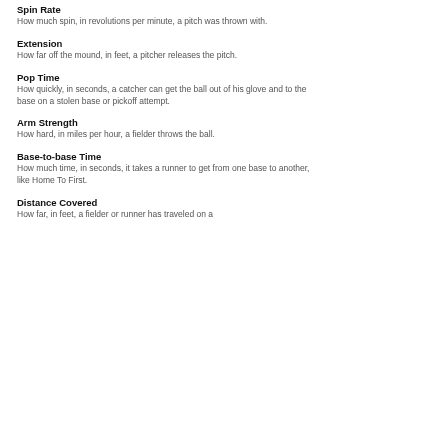movement as Active Spin.
Spin Rate
How much spin, in revolutions per minute, a pitch was thrown with.
Extension
How far off the mound, in feet, a pitcher releases the pitch.
Pop Time
How quickly, in seconds, a catcher can get the ball out of his glove and to the base on a stolen base or pickoff attempt.
Arm Strength
How hard, in miles per hour, a fielder throws the ball.
Base-to-base Time
How much time, in seconds, it takes a runner to get from one base to another, like Home To First.
Distance Covered
How far, in feet, a fielder or runner has traveled on a